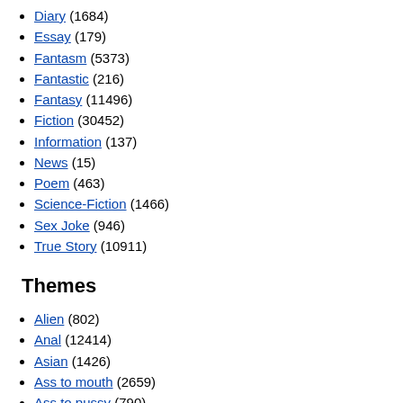Diary (1684)
Essay (179)
Fantasm (5373)
Fantastic (216)
Fantasy (11496)
Fiction (30452)
Information (137)
News (15)
Poem (463)
Science-Fiction (1466)
Sex Joke (946)
True Story (10911)
Themes
Alien (802)
Anal (12414)
Asian (1426)
Ass to mouth (2659)
Ass to pussy (790)
Authoritarian (2566)
BDSM (3800)
Bestiality (2578)
Bi-sexual (4992)